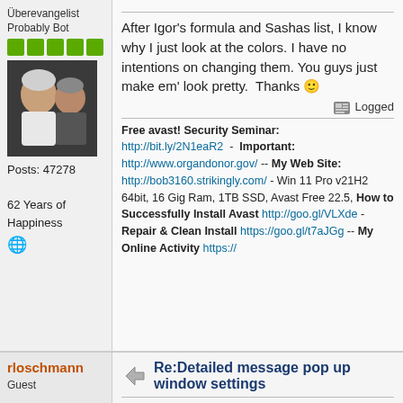Überevangelist
Probably Bot
[Figure (illustration): Green rank squares and avatar photo of two people]
Posts: 47278
62 Years of Happiness
After Igor's formula and Sashas list, I know why I just look at the colors. I have no intentions on changing them. You guys just make em' look pretty.  Thanks 🙂
Logged
Free avast! Security Seminar: http://bit.ly/2N1eaR2 - Important: http://www.organdonor.gov/ -- My Web Site: http://bob3160.strikingly.com/ - Win 11 Pro v21H2 64bit, 16 Gig Ram, 1TB SSD, Avast Free 22.5, How to Successfully Install Avast http://goo.gl/VLXde - Repair & Clean Install https://goo.gl/t7aJGg -- My Online Activity https://
rloschmann
Guest
Re:Detailed message pop up window settings
Well bob, wait for the Tweaker and you may change opinion...  😎
Logged